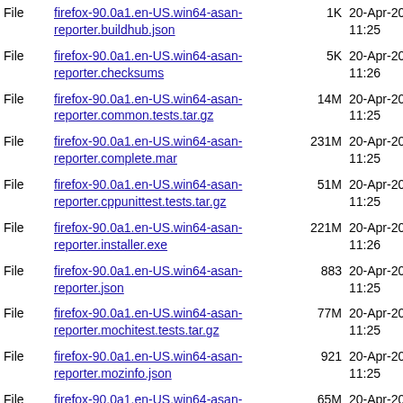| Type | Name | Size | Date |
| --- | --- | --- | --- |
| File | firefox-90.0a1.en-US.win64-asan-reporter.buildhub.json | 1K | 20-Apr-2021 11:25 |
| File | firefox-90.0a1.en-US.win64-asan-reporter.checksums | 5K | 20-Apr-2021 11:26 |
| File | firefox-90.0a1.en-US.win64-asan-reporter.common.tests.tar.gz | 14M | 20-Apr-2021 11:25 |
| File | firefox-90.0a1.en-US.win64-asan-reporter.complete.mar | 231M | 20-Apr-2021 11:25 |
| File | firefox-90.0a1.en-US.win64-asan-reporter.cppunittest.tests.tar.gz | 51M | 20-Apr-2021 11:25 |
| File | firefox-90.0a1.en-US.win64-asan-reporter.installer.exe | 221M | 20-Apr-2021 11:26 |
| File | firefox-90.0a1.en-US.win64-asan-reporter.json | 883 | 20-Apr-2021 11:25 |
| File | firefox-90.0a1.en-US.win64-asan-reporter.mochitest.tests.tar.gz | 77M | 20-Apr-2021 11:25 |
| File | firefox-90.0a1.en-US.win64-asan-reporter.mozinfo.json | 921 | 20-Apr-2021 11:25 |
| File | firefox-90.0a1.en-US.win64-asan-reporter.reftest.tests.tar.gz | 65M | 20-Apr-2021 11:25 |
| File | firefox-90.0a1.en-US.win64-asan-reporter.talos.tests.tar.gz | 18M | 20-Apr-2021 11:25 |
| File | firefox-90.0a1.en-US.win64-asan- | 1K | 20-Apr- |